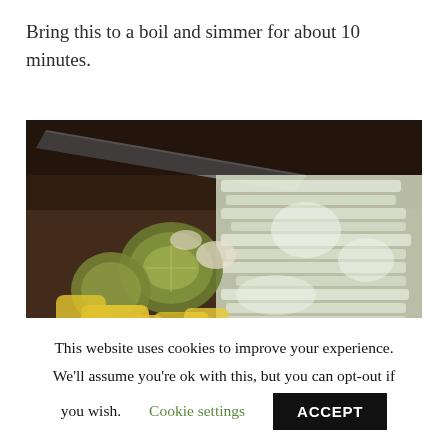Bring this to a boil and simmer for about 10 minutes.
[Figure (photo): Chopped vegetables on a cutting board: green zucchini and yellow squash pieces on the left, shredded cabbage on the right, with a knife visible in the background on a dark wooden surface.]
This website uses cookies to improve your experience. We'll assume you're ok with this, but you can opt-out if you wish. Cookie settings ACCEPT